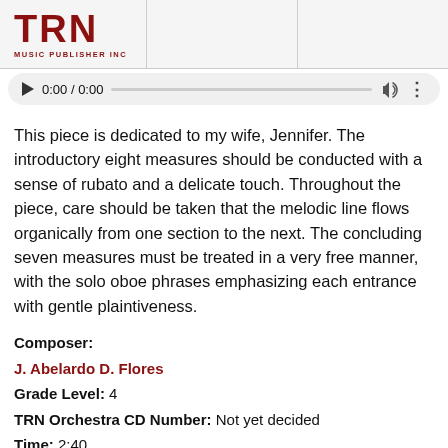[Figure (logo): TRN Music Publisher Inc logo in dark red with bold TRN letters and smaller subtitle text]
[Figure (screenshot): Audio media player UI showing play button, time 0:00 / 0:00, progress bar, volume icon, and more options icon]
This piece is dedicated to my wife, Jennifer. The introductory eight measures should be conducted with a sense of rubato and a delicate touch. Throughout the piece, care should be taken that the melodic line flows organically from one section to the next. The concluding seven measures must be treated in a very free manner, with the solo oboe phrases emphasizing each entrance with gentle plaintiveness.
Composer: J. Abelardo D. Flores
Grade Level: 4
TRN Orchestra CD Number: Not yet decided
Time: 2:40
View Score PDF